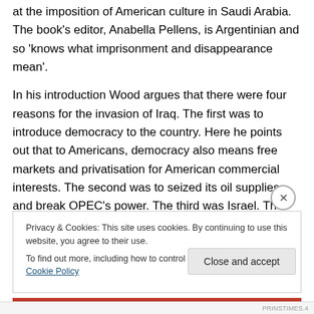at the imposition of American culture in Saudi Arabia. The book's editor, Anabella Pellens, is Argentinian and so 'knows what imprisonment and disappearance mean'.
In his introduction Wood argues that there were four reasons for the invasion of Iraq. The first was to introduce democracy to the country. Here he points out that to Americans, democracy also means free markets and privatisation for American commercial interests. The second was to seized its oil supplies and break OPEC's power. The third was Israel. The United States and Israel
Privacy & Cookies: This site uses cookies. By continuing to use this website, you agree to their use.
To find out more, including how to control cookies, see here: Cookie Policy
Close and accept